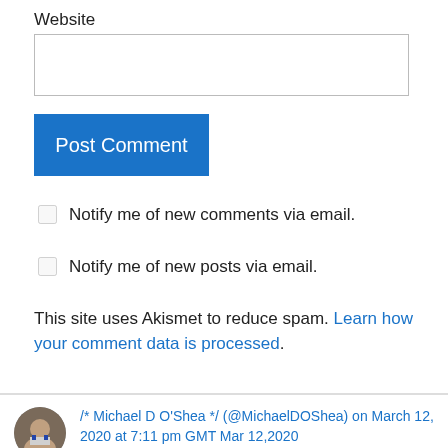Website
[Figure (screenshot): Empty text input box for website URL]
[Figure (screenshot): Blue 'Post Comment' button]
Notify me of new comments via email.
Notify me of new posts via email.
This site uses Akismet to reduce spam. Learn how your comment data is processed.
/* Michael D O'Shea */ (@MichaelDOShea) on March 12, 2020 at 7:11 pm GMT Mar 12,2020
What you have not written Jonathan is that: